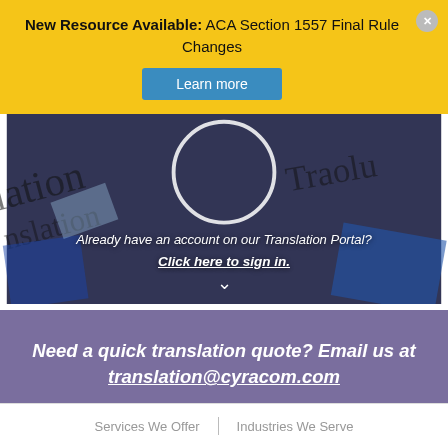New Resource Available: ACA Section 1557 Final Rule Changes
Learn more
Already have an account on our Translation Portal? Click here to sign in.
Need a quick translation quote? Email us at translation@cyracom.com
Services We Offer  |  Industries We Serve